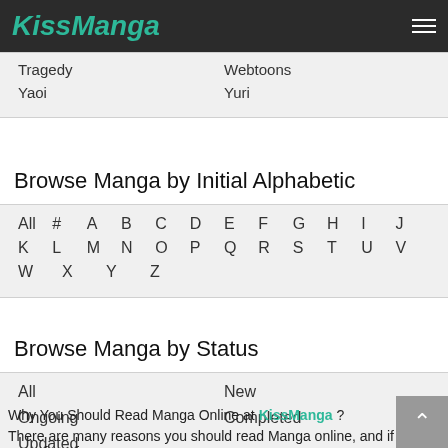KissManga
Tragedy    Webtoons
Yaoi    Yuri
Browse Manga by Initial Alphabetic
All  #  A  B  C  D  E  F  G  H  I  J
K  L  M  N  O  P  Q  R  S  T  U  V
W  X  Y  Z
Browse Manga by Status
All    New
Ongoing    Completed
Updated
Why You Should Read Manga Online at KissManga ?
There are many reasons you should read Manga online, and if you are a fan of